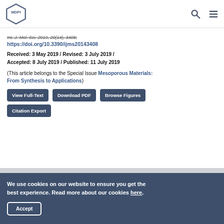MDPI logo with search and menu icons
Int. J. Mol. Sci. 2019, 20(14), 3408; https://doi.org/10.3390/ijms20143408
Received: 3 May 2019 / Revised: 3 July 2019 / Accepted: 8 July 2019 / Published: 11 July 2019
(This article belongs to the Special Issue Mesoporous Materials: From Synthesis to Applications)
View Full-Text | Download PDF | Browse Figures | Citation Export
We use cookies on our website to ensure you get the best experience. Read more about our cookies here.